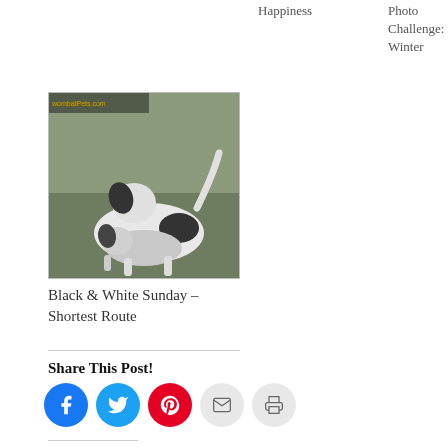Happiness
Photo Challenge: Winter
[Figure (photo): Black and white photo of two dogs (one black and white spotted) playing or interacting on grass]
Black & White Sunday – Shortest Route
Share This Post!
[Figure (infographic): Social share buttons: Facebook, Twitter, Pinterest, Email, Print]
Like this:
Loading...
Filed Under: Blog Hops, Fun Stories, Nature Friday, The Farm